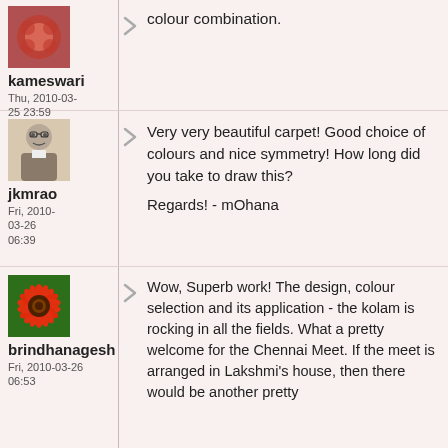colour combination.
kameswari
Thu, 2010-03-25 23:59
[Figure (photo): Avatar of jkmrao, an older man]
jkmrao
Fri, 2010-03-26 06:39
Very very beautiful carpet! Good choice of colours and nice symmetry! How long did you take to draw this?

Regards! - mOhana
[Figure (photo): Avatar of brindhanagesh, a red gerbera flower]
brindhanagesh
Fri, 2010-03-26 06:53
Wow, Superb work! The design, colour selection and its application - the kolam is rocking in all the fields. What a pretty welcome for the Chennai Meet. If the meet is arranged in Lakshmi's house, then there would be another pretty